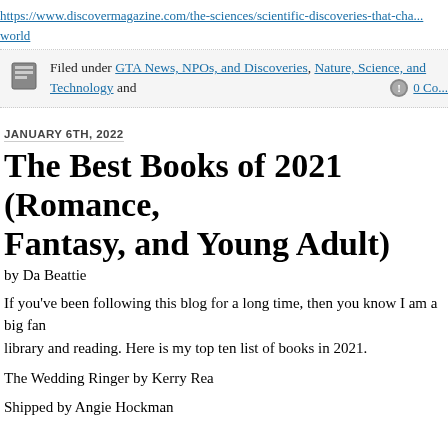https://www.discovermagazine.com/the-sciences/scientific-discoveries-that-cha... world
0 Co... Filed under GTA News, NPOs, and Discoveries, Nature, Science, and Technology and
JANUARY 6TH, 2022
The Best Books of 2021 (Romance, Fantasy, and Young Adult)
by Da Beattie
If you've been following this blog for a long time, then you know I am a big fan of library and reading. Here is my top ten list of books in 2021.
The Wedding Ringer by Kerry Rea
Shipped by Angie Hockman